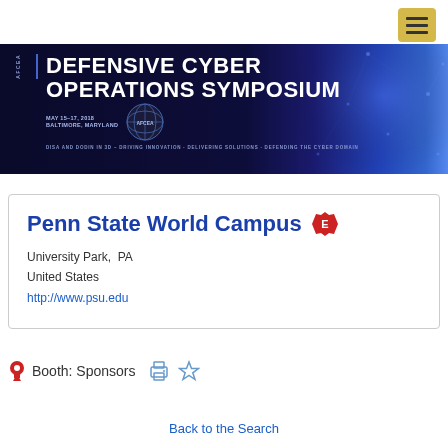[Figure (screenshot): Hamburger menu button (three horizontal lines) on yellow-gold background, top right corner]
[Figure (illustration): AFCEA Defensive Cyber Operations Symposium banner. May 15-17, 2018, Baltimore, Maryland. DISA and DODIN in 3D - Driving Innovation, Delivering Solutions, Defending the Cyber Domain. Dark navy blue background with blue network/globe graphics on right.]
Penn State World Campus
University Park,  PA
United States
http://www.psu.edu
Booth: Sponsors
Back to the Search